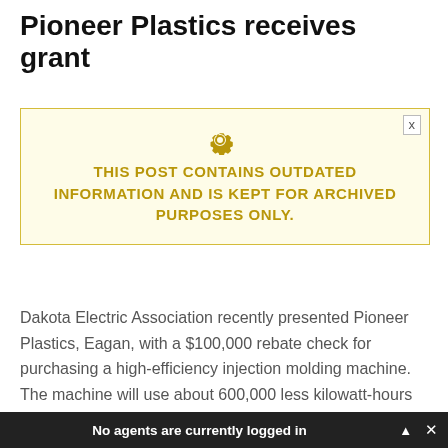Pioneer Plastics receives grant
THIS POST CONTAINS OUTDATED INFORMATION AND IS KEPT FOR ARCHIVED PURPOSES ONLY.
Dakota Electric Association recently presented Pioneer Plastics, Eagan, with a $100,000 rebate check for purchasing a high-efficiency injection molding machine. The machine will use about 600,000 less kilowatt-hours annually than a conventional hydraulic machine.
No agents are currently logged in